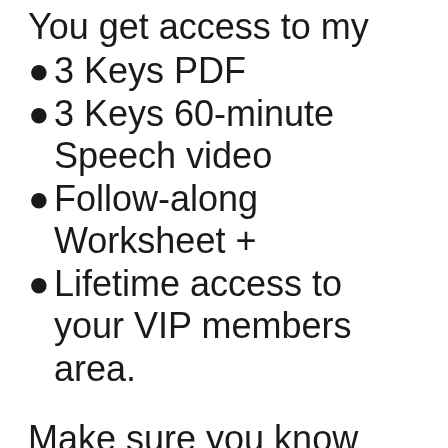You get access to my
3 Keys PDF
3 Keys 60-minute Speech video
Follow-along Worksheet +
Lifetime access to your VIP members area.
Make sure you know exactly what to do and start implementing the knowledge and tools right now.